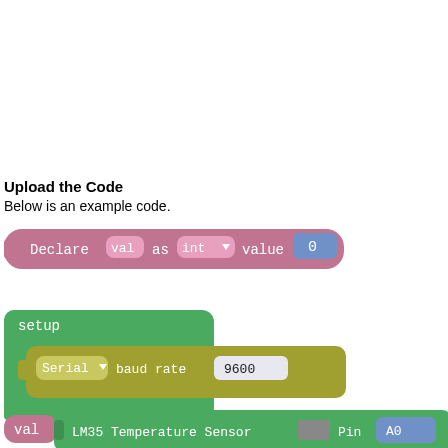Upload the Code
Below is an example code.
[Figure (screenshot): Block programming code snippet showing: 'Declare val as int value 0' in pink/purple blocks with blue value block showing 0]
[Figure (screenshot): Block programming code snippet showing: 'setup' green block containing 'Serial baud rate 9600' with olive/yellow inner block]
[Figure (screenshot): Block programming code snippet showing partial view: 'val' pink block followed by green block with 'LM35 Temperature Sensor ... Pin' and blue value block 'A0' (partially cut off)]